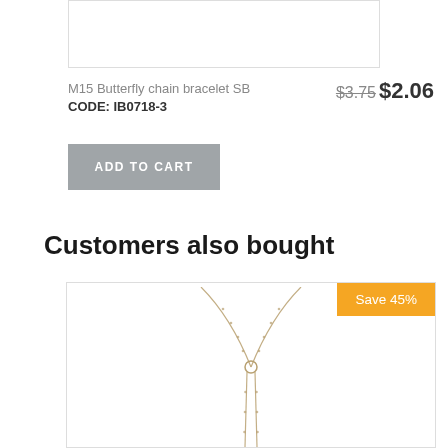[Figure (photo): Partial product image of butterfly chain bracelet at top]
M15 Butterfly chain bracelet SB
CODE: IB0718-3
$3.75 $2.06
ADD TO CART
Customers also bought
[Figure (photo): Necklace product image with Save 45% badge]
Save 45%